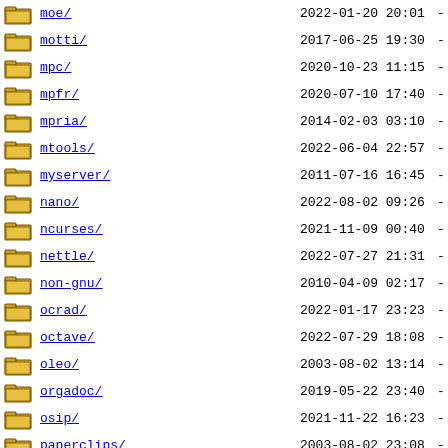moe/  2022-01-20 20:01  -
motti/  2017-06-25 19:30  -
mpc/  2020-10-23 11:15  -
mpfr/  2020-07-10 17:40  -
mpria/  2014-02-03 03:10  -
mtools/  2022-06-04 22:57  -
myserver/  2011-07-16 16:45  -
nano/  2022-08-02 09:26  -
ncurses/  2021-11-09 00:40  -
nettle/  2022-07-27 21:31  -
non-gnu/  2010-04-09 02:17  -
ocrad/  2022-01-17 23:23  -
octave/  2022-07-29 18:08  -
oleo/  2003-08-02 13:14  -
orgadoc/  2019-05-22 23:40  -
osip/  2021-11-22 16:23  -
paperclips/  2003-08-02 23:08  -
parallel/  2022-08-22 21:11  -